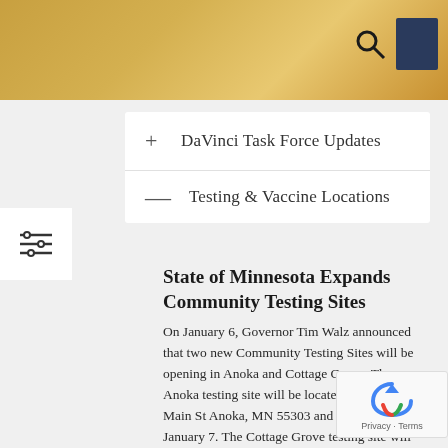+ DaVinci Task Force Updates
— Testing & Vaccine Locations
State of Minnesota Expands Community Testing Sites
On January 6, Governor Tim Walz announced that two new Community Testing Sites will be opening in Anoka and Cottage Grove. The Anoka testing site will be located at 408 East Main St Anoka, MN 55303 and will open on January 7. The Cottage Grove testing site will be located at 8180 Belden Blvd, Cottage Grove, MN 55016 and will open on January 13.
In addition, beginning on January 6, the community testing site at Roy Wilkins Auditorium in Saint Paul will have 50% more testing capacity.
Please share the following information with families: